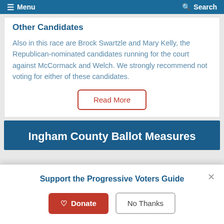Menu  Search
Other Candidates
Also in this race are Brock Swartzle and Mary Kelly, the Republican-nominated candidates running for the court against McCormack and Welch. We strongly recommend not voting for either of these candidates.
Ingham County Ballot Measures
Support the Progressive Voters Guide